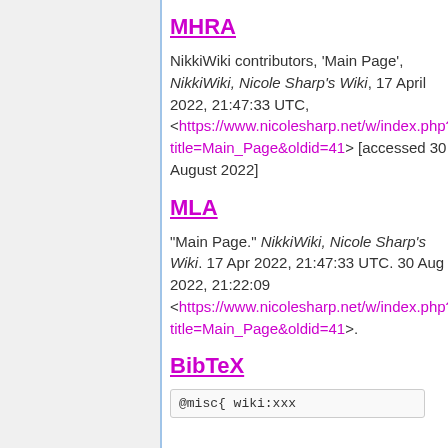MHRA
NikkiWiki contributors, 'Main Page', NikkiWiki, Nicole Sharp's Wiki, 17 April 2022, 21:47:33 UTC, <https://www.nicolesharp.net/w/index.php?title=Main_Page&oldid=41> [accessed 30 August 2022]
MLA
"Main Page." NikkiWiki, Nicole Sharp's Wiki. 17 Apr 2022, 21:47:33 UTC. 30 Aug 2022, 21:22:09 <https://www.nicolesharp.net/w/index.php?title=Main_Page&oldid=41>.
BibTeX
@misc{ wiki:xxx